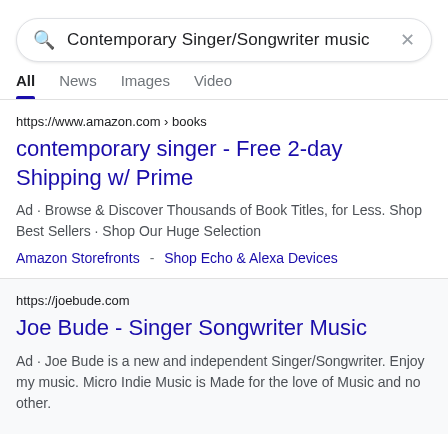[Figure (screenshot): Google search bar with query 'Contemporary Singer/Songwriter music' and X close button]
All  News  Images  Video
https://www.amazon.com › books
contemporary singer - Free 2-day Shipping w/ Prime
Ad · Browse & Discover Thousands of Book Titles, for Less. Shop Best Sellers · Shop Our Huge Selection
Amazon Storefronts  -  Shop Echo & Alexa Devices
https://joebude.com
Joe Bude - Singer Songwriter Music
Ad · Joe Bude is a new and independent Singer/Songwriter. Enjoy my music. Micro Indie Music is Made for the love of Music and no other.